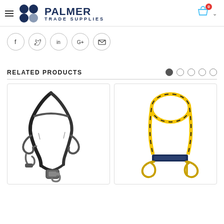[Figure (logo): Palmer Trade Supplies logo with dark blue circle icons and text]
[Figure (infographic): Social sharing buttons: Facebook, Twitter, LinkedIn, Google+, Email]
RELATED PRODUCTS
[Figure (photo): Black safety lanyard with snap hooks and retractable mechanism]
[Figure (photo): Yellow and black rope anchor/lanyard with carabiner hooks and blue webbing]